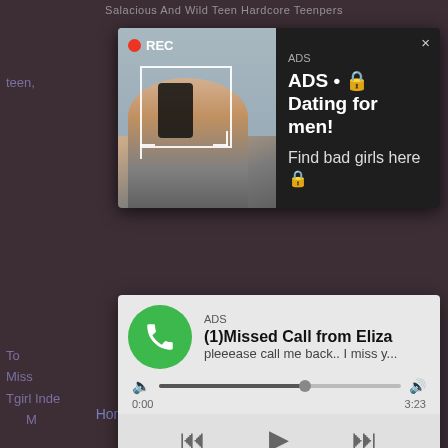Salacious And Wild Teen Hardcore Teenpers
[Figure (screenshot): Video ad popup with dark background showing a woman taking a selfie with REC badge and viewfinder overlay. Ad text reads: ADS • Dating for men! Find bad girls here]
[Figure (screenshot): Missed call ad popup with light gray background. Shows green phone icon, text: ADS, (1)Missed Call from Eliza, pleeease call me back.. I miss y... with audio player controls showing 0:00 and 3:23]
teen, ...cki...
To Miss Tgirl Inde Military N ...x ...girl
© 2022 All rights reserved.
Home  Privacy Policy  DMCA  2257